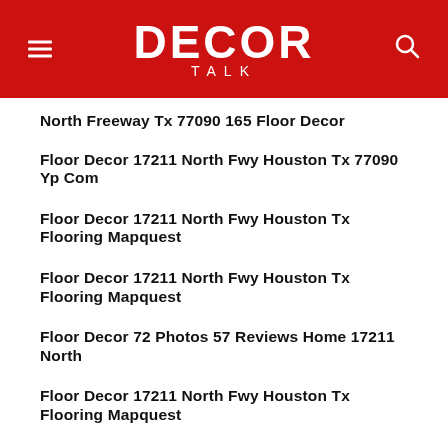DECOR TALK
North Freeway Tx 77090 165 Floor Decor
Floor Decor 17211 North Fwy Houston Tx 77090 Yp Com
Floor Decor 17211 North Fwy Houston Tx Flooring Mapquest
Floor Decor 17211 North Fwy Houston Tx Flooring Mapquest
Floor Decor 72 Photos 57 Reviews Home 17211 North
Floor Decor 17211 North Fwy Houston Tx Flooring Mapquest
Floor Decor 72 Photos 57 Reviews Home 17211 North
Floor Decor Texas Home Improvement
Floor Decor 17211 North Fwy Houston Tx Flooring Mapquest